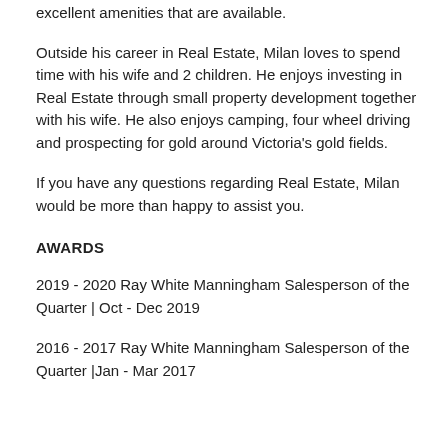excellent amenities that are available.
Outside his career in Real Estate, Milan loves to spend time with his wife and 2 children. He enjoys investing in Real Estate through small property development together with his wife. He also enjoys camping, four wheel driving and prospecting for gold around Victoria's gold fields.
If you have any questions regarding Real Estate, Milan would be more than happy to assist you.
AWARDS
2019 - 2020 Ray White Manningham Salesperson of the Quarter | Oct - Dec 2019
2016 - 2017 Ray White Manningham Salesperson of the Quarter |Jan - Mar 2017